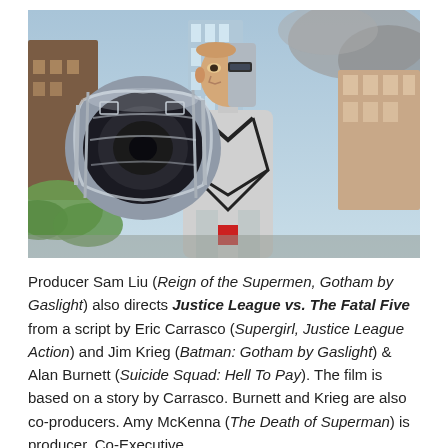[Figure (illustration): Animated still from Justice League vs. The Fatal Five showing a cybernetic humanoid character (half-human, half-robot face) aiming a large cannon/gun barrel directly at the viewer. City buildings and cloudy sky in background. Character wears white and black armor.]
Producer Sam Liu (Reign of the Supermen, Gotham by Gaslight) also directs Justice League vs. The Fatal Five from a script by Eric Carrasco (Supergirl, Justice League Action) and Jim Krieg (Batman: Gotham by Gaslight) & Alan Burnett (Suicide Squad: Hell To Pay). The film is based on a story by Carrasco. Burnett and Krieg are also co-producers. Amy McKenna (The Death of Superman) is producer. Co-Executive